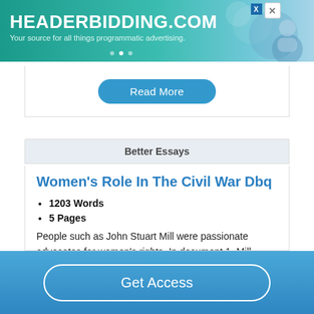[Figure (other): Advertisement banner for HEADERBIDDING.COM with teal/green gradient background]
Read More
Better Essays
Women's Role In The Civil War Dbq
1203 Words
5 Pages
People such as John Stuart Mill were passionate advocates for women's rights. In document 1, Mill begins by saying that traditionally, the vocation of a woman is the place of a wife and mother. He believes that one is supposed to
Get Access